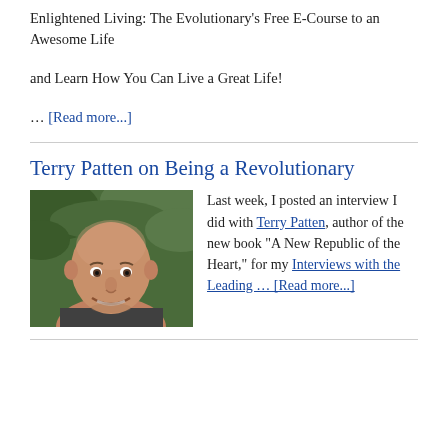Enlightened Living: The Evolutionary's Free E-Course to an Awesome Life
and Learn How You Can Live a Great Life!
... [Read more...]
Terry Patten on Being a Revolutionary
[Figure (photo): Headshot photo of Terry Patten, a middle-aged bald man smiling, with a green leafy background.]
Last week, I posted an interview I did with Terry Patten, author of the new book "A New Republic of the Heart," for my Interviews with the Leading … [Read more...]